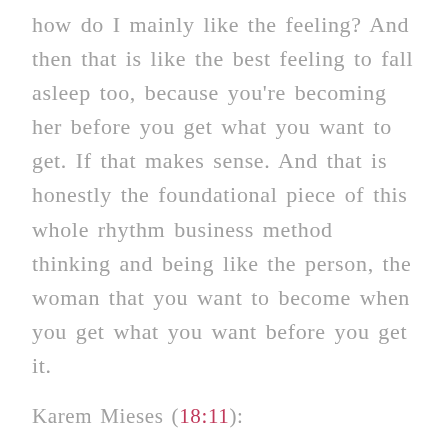how do I mainly like the feeling? And then that is like the best feeling to fall asleep too, because you're becoming her before you get what you want to get. If that makes sense. And that is honestly the foundational piece of this whole rhythm business method thinking and being like the person, the woman that you want to become when you get what you want before you get it.
Karem Mieses (18:11):
What do I say after that? Your